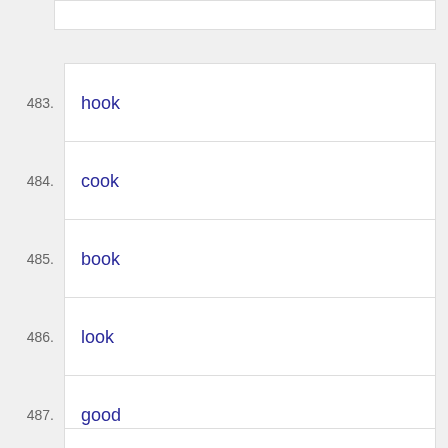483. hook
484. cook
485. book
486. look
487. good
488. hood